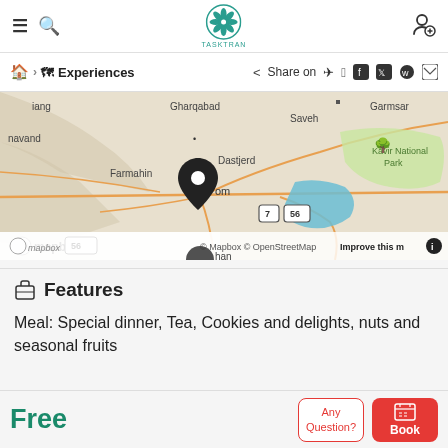Tasktran — Navigation bar with hamburger, search, logo, and user icon
🏠 > Experiences   < Share on (telegram, facebook, twitter, whatsapp, email)
[Figure (map): Mapbox/OpenStreetMap map centered near Qom, Iran. Shows cities: iang, Gharqabad, Saveh, navand, Farmahin, Dastjerd, Qom (with location pin), Garmsar. Features: Kavir National Park (green area), blue water body, roads, route 7 and 56 markers. Attribution: © Mapbox © OpenStreetMap. Improve this map button visible.]
Features
Meal: Special dinner, Tea, Cookies and delights, nuts and seasonal fruits
Free
Any Question?   Book